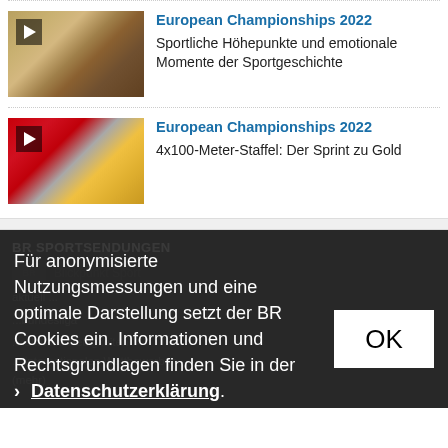European Championships 2022 – Sportliche Höhepunkte und emotionale Momente der Sportgeschichte
European Championships 2022 – 4x100-Meter-Staffel: Der Sprint zu Gold
BR SPORTSENDUNGEN
Für anonymisierte Nutzungsmessungen und eine optimale Darstellung setzt der BR Cookies ein. Informationen und Rechtsgrundlagen finden Sie in der Datenschutzerklärung.
OK